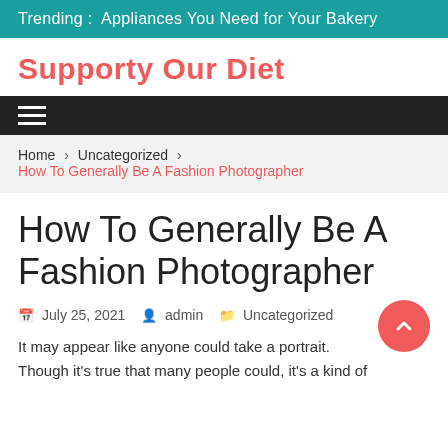Trending :  Appliances You Need for Your Bakery
Supporty Our Diet
Home › Uncategorized › How To Generally Be A Fashion Photographer
How To Generally Be A Fashion Photographer
July 25, 2021  admin  Uncategorized
It may appear like anyone could take a portrait. Though it's true that many people could, it's a kind of